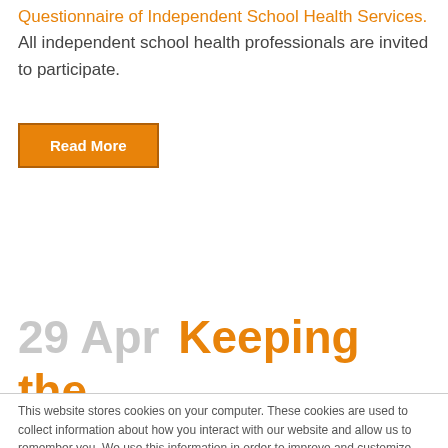Questionnaire of Independent School Health Services. All independent school health professionals are invited to participate.
Read More
29 Apr Keeping the
This website stores cookies on your computer. These cookies are used to collect information about how you interact with our website and allow us to remember you. We use this information in order to improve and customize your browsing experience and for analytics and metrics about our visitors on this website and our other domains.
Got It!